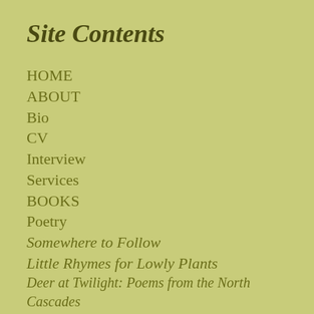Site Contents
HOME
ABOUT
Bio
CV
Interview
Services
BOOKS
Poetry
Somewhere to Follow
Little Rhymes for Lowly Plants
Deer at Twilight: Poems from the North Cascades